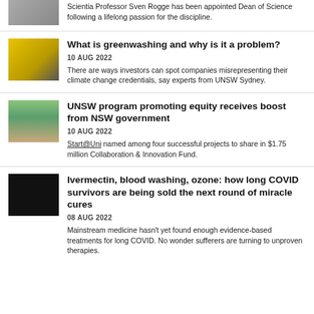Scientia Professor Sven Rogge has been appointed Dean of Science following a lifelong passion for the discipline.
What is greenwashing and why is it a problem?
10 AUG 2022
There are ways investors can spot companies misrepresenting their climate change credentials, say experts from UNSW Sydney.
UNSW program promoting equity receives boost from NSW government
10 AUG 2022
Start@Uni named among four successful projects to share in $1.75 million Collaboration & Innovation Fund.
Ivermectin, blood washing, ozone: how long COVID survivors are being sold the next round of miracle cures
08 AUG 2022
Mainstream medicine hasn't yet found enough evidence-based treatments for long COVID. No wonder sufferers are turning to unproven therapies.